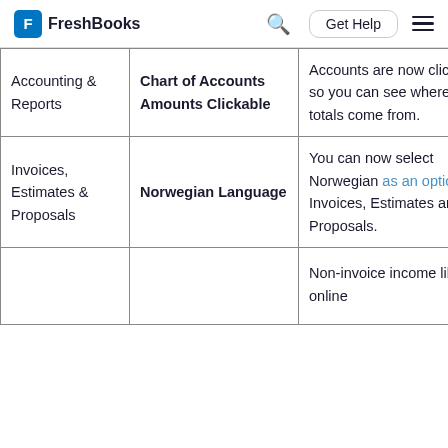FreshBooks | Get Help
| Category | Feature | Description |
| --- | --- | --- |
| Accounting & Reports | Chart of Accounts Amounts Clickable | Accounts are now clickable so you can see where the totals come from. |
| Invoices, Estimates & Proposals | Norwegian Language | You can now select Norwegian as an option for Invoices, Estimates and Proposals. |
|  |  | Non-invoice income like online |